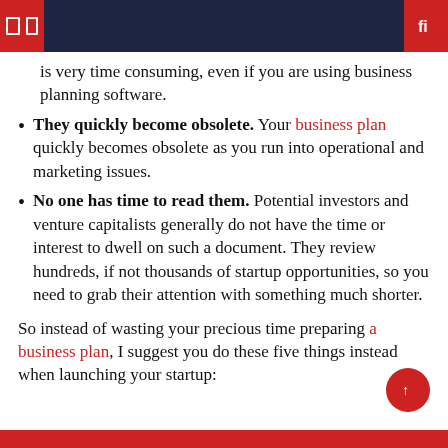is very time consuming, even if you are using business planning software.
They quickly become obsolete. Your business plan quickly becomes obsolete as you run into operational and marketing issues.
No one has time to read them. Potential investors and venture capitalists generally do not have the time or interest to dwell on such a document. They review hundreds, if not thousands of startup opportunities, so you need to grab their attention with something much shorter.
So instead of wasting your precious time preparing a business plan, I suggest you do these five things instead when launching your startup: